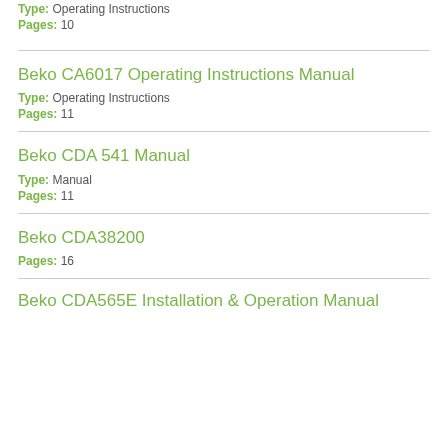Type: Operating Instructions
Pages: 10
Beko CA6017 Operating Instructions Manual
Type: Operating Instructions
Pages: 11
Beko CDA 541 Manual
Type: Manual
Pages: 11
Beko CDA38200
Pages: 16
Beko CDA565E Installation & Operation Manual